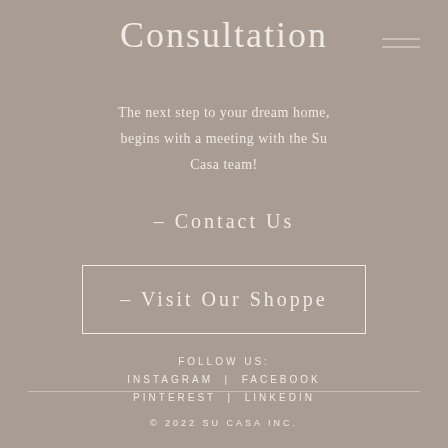Consultation
The next step to your dream home, begins with a meeting with the Su Casa team!
– Contact Us
– Visit Our Shoppe
FOLLOW US:
INSTAGRAM | FACEBOOK
PINTERESST | LINKEDIN
© 2022 SU CASA INC.